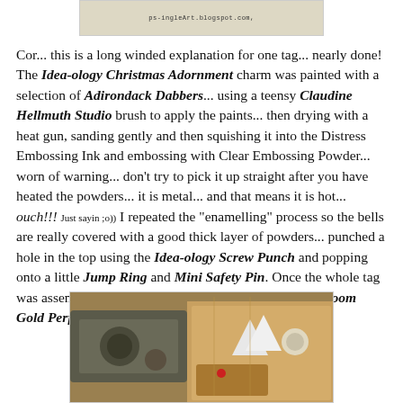[Figure (photo): Top partial image showing sheet music or decorative paper with text 'ps-inglenart.blogspot.com']
Cor... this is a long winded explanation for one tag... nearly done! The Idea-ology Christmas Adornment charm was painted with a selection of Adirondack Dabbers... using a teensy Claudine Hellmuth Studio brush to apply the paints... then drying with a heat gun, sanding gently and then squishing it into the Distress Embossing Ink and embossing with Clear Embossing Powder... worn of warning... don't try to pick it up straight after you have heated the powders... it is metal... and that means it is hot... ouch!!! Just sayin ;o)) I repeated the "enamelling" process so the bells are really covered with a good thick layer of powders... punched a hole in the top using the Idea-ology Screw Punch and popping onto a little Jump Ring and Mini Safety Pin. Once the whole tag was assembled, I gave it is a really fine spritz with Heirloom Gold Perfect Pearls Mists.
[Figure (photo): Bottom photo showing Christmas craft tag with decorative elements including metallic charms, snowflake embellishments, and patterned paper in warm tones]